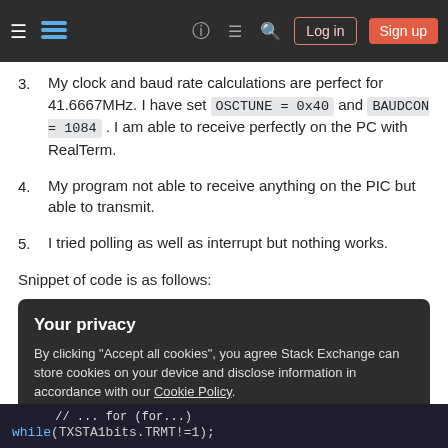Stack Exchange navigation bar with hamburger menu, logo, help, chat, search icons, Log in and Sign up buttons
3. My clock and baud rate calculations are perfect for 41.6667MHz. I have set OSCTUNE = 0x40 and BAUDCON = 1084 . I am able to receive perfectly on the PC with RealTerm.
4. My program not able to receive anything on the PIC but able to transmit.
5. I tried polling as well as interrupt but nothing works.
Snippet of code is as follows:
Your privacy
By clicking "Accept all cookies", you agree Stack Exchange can store cookies on your device and disclose information in accordance with our Cookie Policy.
[Accept all cookies] [Customize settings]
while(TXSTA1bits.TRMT!=1);